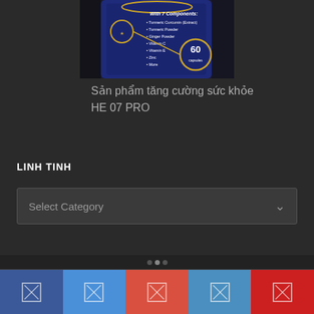[Figure (photo): Partial view of a dark blue supplement bottle labeled with '7 Components' including Turmeric Curcumin Extract, Turmeric Powder, Ginger Powder, Vitamin C, Vitamin E, Zinc, and showing '60 capsules' badge with a USA flag emblem.]
Sản phẩm tăng cường sức khỏe HE 07 PRO
LINH TINH
Select Category
[Figure (screenshot): Social media icon bar at bottom with 5 colored sections: dark blue (Facebook), light blue, red-orange (Google+), medium blue (Twitter), red (YouTube), each containing a broken image icon placeholder.]